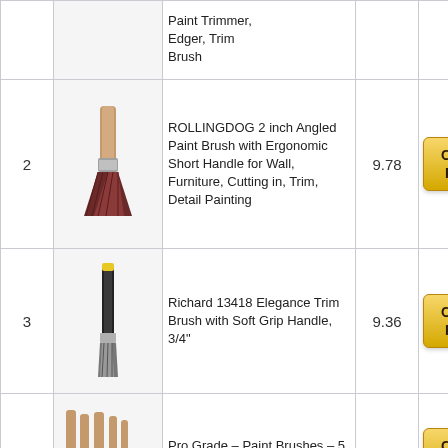| # | Image | Product Name | Score | Link |
| --- | --- | --- | --- | --- |
|  |  | Paint Trimmer, Edger, Trim Brush |  | Check Price |
| 2 | [image] | ROLLINGDOG 2 inch Angled Paint Brush with Ergonomic Short Handle for Wall, Furniture, Cutting in, Trim, Detail Painting | 9.78 | Check Price |
| 3 | [image] | Richard 13418 Elegance Trim Brush with Soft Grip Handle, 3/4" | 9.36 | Check Price |
| 4 | [image] | Pro Grade – Paint Brushes – 5 Ea – Paint Brush Set | 9.84 | Check Price |